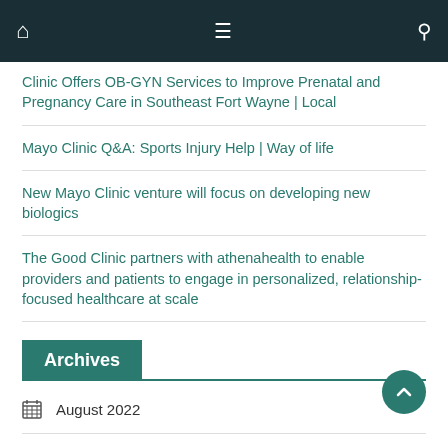Navigation bar with home, menu, and search icons
Clinic Offers OB-GYN Services to Improve Prenatal and Pregnancy Care in Southeast Fort Wayne | Local
Mayo Clinic Q&A: Sports Injury Help | Way of life
New Mayo Clinic venture will focus on developing new biologics
The Good Clinic partners with athenahealth to enable providers and patients to engage in personalized, relationship-focused healthcare at scale
Archives
August 2022
July 2022
June 2022